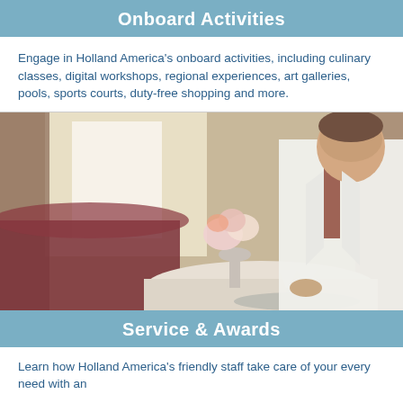Onboard Activities
Engage in Holland America’s onboard activities, including culinary classes, digital workshops, regional experiences, art galleries, pools, sports courts, duty-free shopping and more.
[Figure (photo): A waiter in a white jacket leaning over a round table, placing martini glasses on a silver tray. A vase of pink flowers sits on the table, with a dark sofa and window curtains in the background.]
Service & Awards
Learn how Holland America’s friendly staff take care of your every need with an